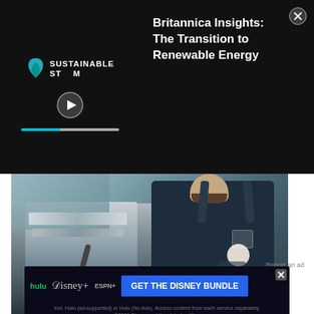[Figure (screenshot): Video ad overlay with black background. Left side shows Sustainable STEAM logo with play button and progress bar. Right side shows text: 'Britannica Insights: The Transition to Renewable Energy' with X close button.]
[Figure (photo): Photo of a bearded barista wearing a dark apron, standing in front of an espresso machine in a cafe setting.]
Report an ad
[Figure (screenshot): Disney Bundle advertisement banner showing Hulu, Disney+, and ESPN+ logos with 'GET THE DISNEY BUNDLE' call to action button and fine print: 'Incl. Hulu (ad-supported) or Hulu (No Ads). Access content from each service separately. ©2021 Disney and its related entities']